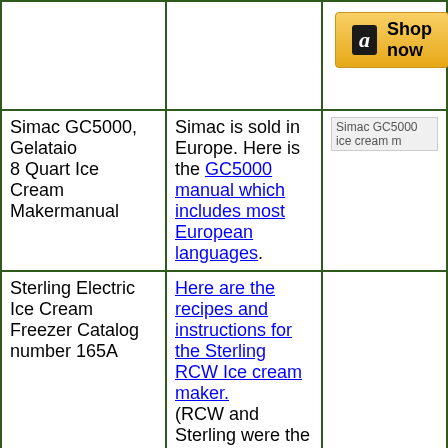| Product | Description | Image |
| --- | --- | --- |
|  |  | Shop now (Amazon button) |
| Simac GC5000, Gelataio 8 Quart Ice Cream Makermanual | Simac is sold in Europe. Here is the GC5000 manual which includes most European languages. | Simac GC5000 ice cream m... |
| Sterling Electric Ice Cream Freezer Catalog number 165A | Here are the recipes and instructions for the Sterling RCW Ice cream maker. (RCW and Sterling were the same company) If you have a copy of the manual for other Richmond Cedar Works ice cream makers and can scan the manual to email me, please write... | Sterling Electric Ice Cream Catalog number 165A |